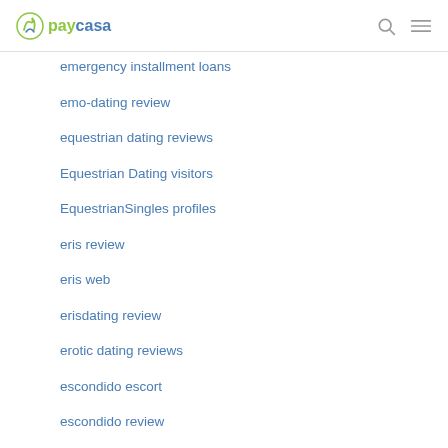paycasa
emergency installment loans
emo-dating review
equestrian dating reviews
Equestrian Dating visitors
EquestrianSingles profiles
eris review
eris web
erisdating review
erotic dating reviews
escondido escort
escondido review
escort escort